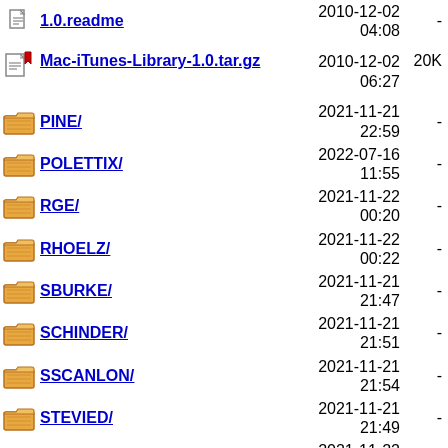1.0.readme  2010-12-02 04:08  -
Mac-iTunes-Library-1.0.tar.gz  2010-12-02 06:27  20K
PINE/  2021-11-21 22:59  -
POLETTIX/  2022-07-16 11:55  -
RGE/  2021-11-22 00:20  -
RHOELZ/  2021-11-22 00:22  -
SBURKE/  2021-11-21 21:47  -
SCHINDER/  2021-11-21 21:51  -
SSCANLON/  2021-11-21 21:54  -
STEVIED/  2021-11-21 21:49  -
TWEGNER/  2021-11-22 01:28  -
VPIT/  2021-12-20 20:55  -